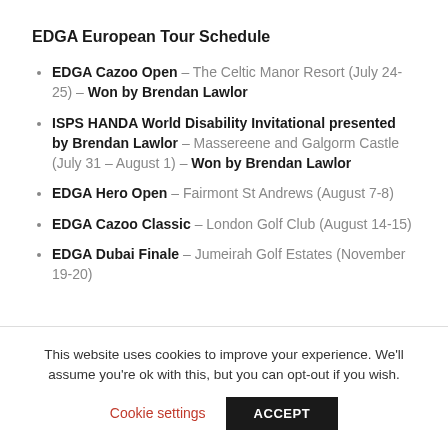EDGA European Tour Schedule
EDGA Cazoo Open – The Celtic Manor Resort (July 24-25) – Won by Brendan Lawlor
ISPS HANDA World Disability Invitational presented by Brendan Lawlor – Massereene and Galgorm Castle (July 31 – August 1) – Won by Brendan Lawlor
EDGA Hero Open – Fairmont St Andrews (August 7-8)
EDGA Cazoo Classic – London Golf Club (August 14-15)
EDGA Dubai Finale – Jumeirah Golf Estates (November 19-20)
This website uses cookies to improve your experience. We'll assume you're ok with this, but you can opt-out if you wish.
Cookie settings | ACCEPT